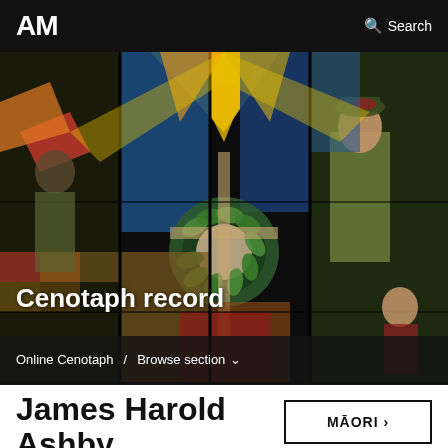AM  Search
[Figure (photo): Stained glass window depicting soldiers and figures with a wreath/cross motif, colorful blues, reds, greens, yellows, and golds]
Cenotaph record
Online Cenotaph / Browse section
James Harold Ashby
MĀORI ›